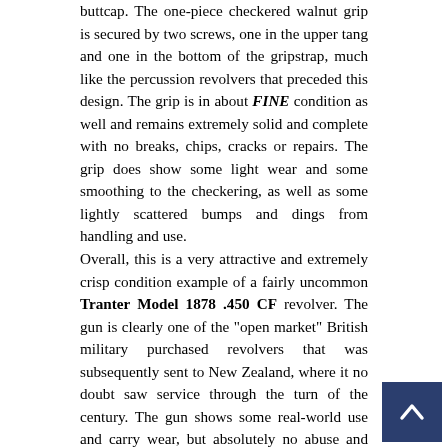buttcap. The one-piece checkered walnut grip is secured by two screws, one in the upper tang and one in the bottom of the gripstrap, much like the percussion revolvers that preceded this design. The grip is in about FINE condition as well and remains extremely solid and complete with no breaks, chips, cracks or repairs. The grip does show some light wear and some smoothing to the checkering, as well as some lightly scattered bumps and dings from handling and use.
Overall, this is a very attractive and extremely crisp condition example of a fairly uncommon Tranter Model 1878 .450 CF revolver. The gun is clearly one of the "open market" British military purchased revolvers that was subsequently sent to New Zealand, where it no doubt saw service through the turn of the century. The gun shows some real-world use and carry wear, but absolutely no abuse and remains 100% complete, correct and fully functional. It is an extremely nice example of a pattern of English revolver that is rarely found for sale in America or anywhere else for that matter. This is a great opportunity to own a scarce British military revolver from a period when the British Empire was in conflict around the globe